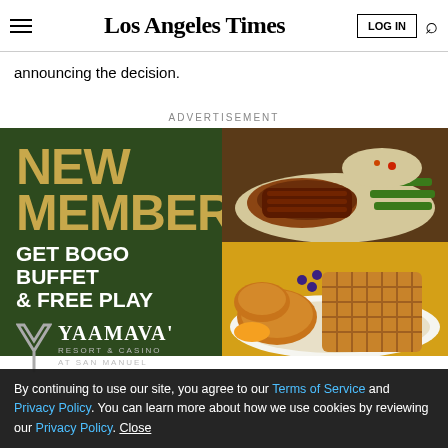Los Angeles Times
announcing the decision.
ADVERTISEMENT
[Figure (illustration): Yaamava' Resort & Casino advertisement on dark green background. Left side shows bold text: NEW MEMBERS! GET BOGO BUFFET & FREE PLAY with Yaamava' Resort & Casino at San Manuel logo. Right side shows food photos: steak with rice and green beans (top), fried chicken and waffles (bottom).]
By continuing to use our site, you agree to our Terms of Service and Privacy Policy. You can learn more about how we use cookies by reviewing our Privacy Policy. Close